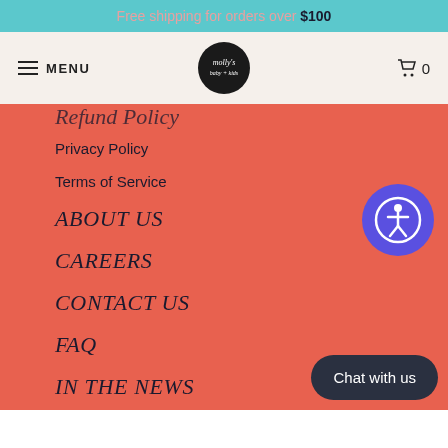Free shipping for orders over $100
MENU | molly's logo | cart 0
Refund Policy (partial, cropped)
Privacy Policy
Terms of Service
ABOUT US
CAREERS
CONTACT US
FAQ
IN THE NEWS
LOCATION